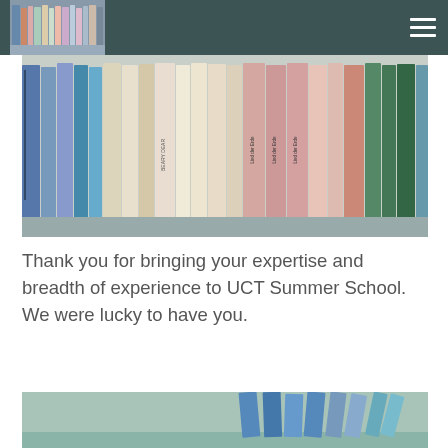UCT Summer School
[Figure (photo): A close-up photo of colourful books standing upright on a library shelf, with spines showing various titles including Japanese text, 'Lied der Erde', 'BEARY DEAR', and other multilingual books.]
Thank you for bringing your expertise and breadth of experience to UCT Summer School. We were lucky to have you.
[Figure (photo): Partial photo of books on a light green/teal shelf, showing blue and teal book spines fanned out.]